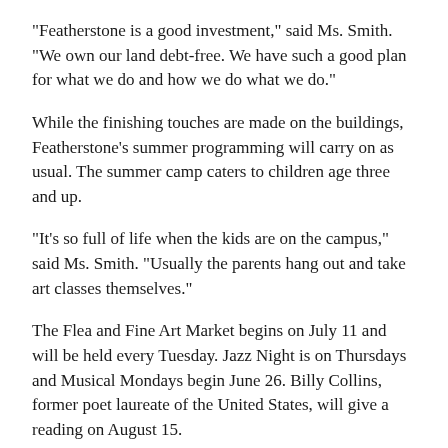“Featherstone is a good investment,” said Ms. Smith. “We own our land debt-free. We have such a good plan for what we do and how we do what we do.”
While the finishing touches are made on the buildings, Featherstone’s summer programming will carry on as usual. The summer camp caters to children age three and up.
“It’s so full of life when the kids are on the campus,” said Ms. Smith. “Usually the parents hang out and take art classes themselves.”
The Flea and Fine Art Market begins on July 11 and will be held every Tuesday. Jazz Night is on Thursdays and Musical Mondays begin June 26. Billy Collins, former poet laureate of the United States, will give a reading on August 15.
The next fundraising event will be an art sale on June 23 from 12 to 7 p.m. and June 24 from 10 a.m. to 5 p.m. Over 70 Island artists donated their work and the pieces can be bought for a minimum donation.